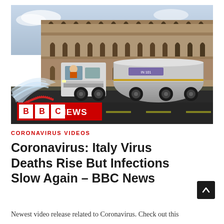[Figure (photo): A sanitation truck spraying disinfectant in front of the Colosseum in Rome, Italy. The truck is a large white tanker vehicle. BBC News logo overlay appears in the bottom left of the image.]
CORONAVIRUS VIDEOS
Coronavirus: Italy Virus Deaths Rise But Infections Slow Again – BBC News
Newest video release related to Coronavirus. Check out this